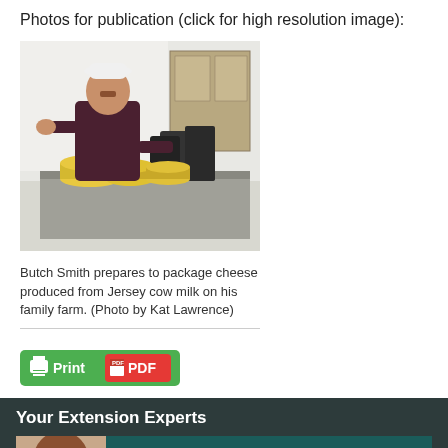Photos for publication (click for high resolution image):
[Figure (photo): Butch Smith preparing to package cheese wheels on a stainless steel table, with black equipment visible in background. Person wearing white cap and dark shirt.]
Butch Smith prepares to package cheese produced from Jersey cow milk on his family farm. (Photo by Kat Lawrence)
[Figure (other): Green Print and red PDF button]
Your Extension Experts
[Figure (photo): Headshot photo of Dr. Amanda Elizabeth Stone]
Dr. Amanda Elizabeth Stone
Associate Professor